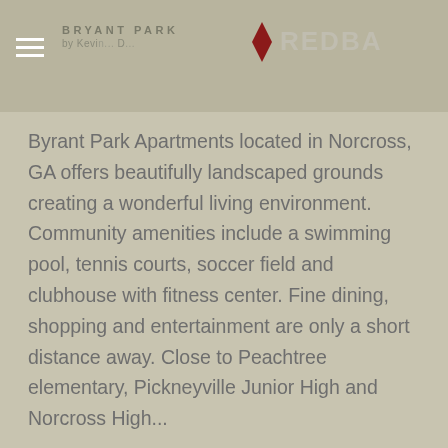BRYANT PARK by Kevin... | REDBADGE
Byrant Park Apartments located in Norcross, GA offers beautifully landscaped grounds creating a wonderful living environment. Community amenities include a swimming pool, tennis courts, soccer field and clubhouse with fitness center. Fine dining, shopping and entertainment are only a short distance away. Close to Peachtree elementary, Pickneyville Junior High and Norcross High...
« Older Entries    Next Entries »
Search